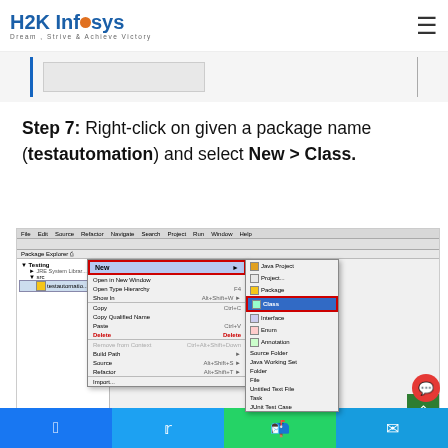H2K Infosys - Dream, Strive & Achieve Victory
Step 7: Right-click on given a package name (testautomation) and select New > Class.
[Figure (screenshot): Eclipse IDE screenshot showing Package Explorer with testautomation package selected, a right-click context menu open with 'New' highlighted and submenu showing 'Class' highlighted with red border]
Social share bar: Facebook, Twitter, WhatsApp, Telegram